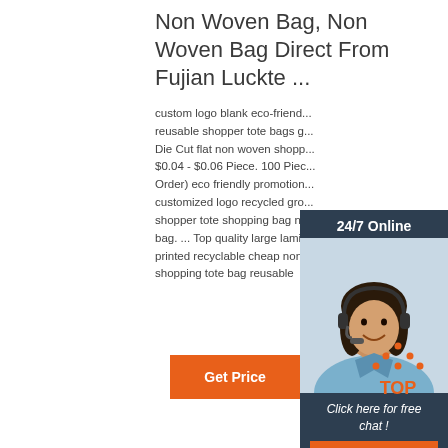Non Woven Bag, Non Woven Bag Direct From Fujian Luckte ...
custom logo blank eco-friendly reusable shopper tote bags g... Die Cut flat non woven shopp... $0.04 - $0.06 Piece. 100 Piec... Order) eco friendly promotion... customized logo recycled gro... shopper tote shopping bag n... bag. ... Top quality large lami... printed recyclable cheap non... shopping tote bag reusable
[Figure (photo): Customer service representative with headset, 24/7 Online chat widget with orange QUOTATION button]
[Figure (logo): Orange TOP back-to-top icon with dotted triangle above the word TOP]